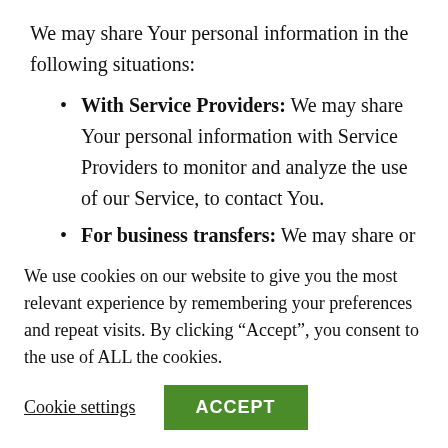We may share Your personal information in the following situations:
With Service Providers: We may share Your personal information with Service Providers to monitor and analyze the use of our Service, to contact You.
For business transfers: We may share or transfer Your personal information in connection with, or during negotiations of, any merger, sale of Company assets,
We use cookies on our website to give you the most relevant experience by remembering your preferences and repeat visits. By clicking “Accept”, you consent to the use of ALL the cookies.
Cookie settings  ACCEPT